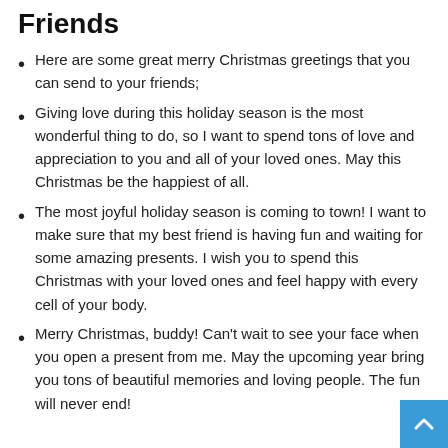Friends
Here are some great merry Christmas greetings that you can send to your friends;
Giving love during this holiday season is the most wonderful thing to do, so I want to spend tons of love and appreciation to you and all of your loved ones. May this Christmas be the happiest of all.
The most joyful holiday season is coming to town! I want to make sure that my best friend is having fun and waiting for some amazing presents. I wish you to spend this Christmas with your loved ones and feel happy with every cell of your body.
Merry Christmas, buddy! Can't wait to see your face when you open a present from me. May the upcoming year bring you tons of beautiful memories and loving people. The fun will never end!